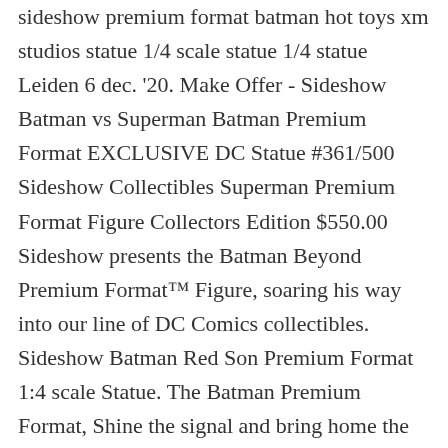sideshow premium format batman hot toys xm studios statue 1/4 scale statue 1/4 statue Leiden 6 dec. '20. Make Offer - Sideshow Batman vs Superman Batman Premium Format EXCLUSIVE DC Statue #361/500 Sideshow Collectibles Superman Premium Format Figure Collectors Edition $550.00 Sideshow presents the Batman Beyond Premium Format™ Figure, soaring his way into our line of DC Comics collectibles. Sideshow Batman Red Son Premium Format 1:4 scale Statue. The Batman Premium Format, Shine the signal and bring home the Batman Premium Format, Criminals of Gotham, beware! Il joker invece verrà a casina. $710.00. Sideshow - Premium Format Batman - Exclusive Edition $650. 25:46. Horrifying effigies of heroes like Red Hood, Nightwing, and Batgirl are carved into the cave beneath his boots, as a twisted tribute to the legacy of Bruce Wayne's mentorship. Browse